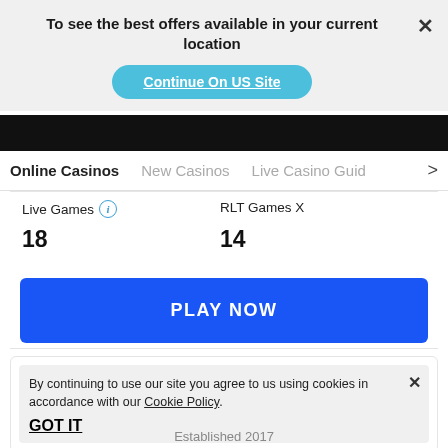To see the best offers available in your current location
Continue On US Site
Online Casinos   New Casinos   Live Casino Guide >
Live Games  18
RLT Games X  14
PLAY NOW
By continuing to use our site you agree to us using cookies in accordance with our Cookie Policy.
GOT IT
Established 2017